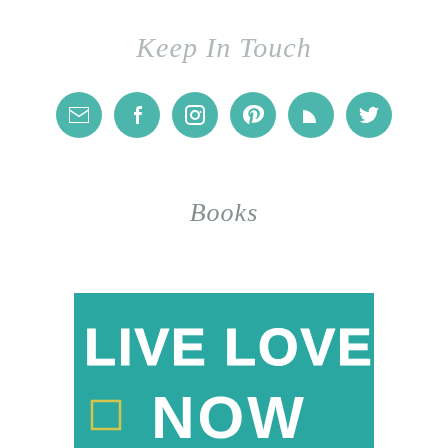Keep In Touch
[Figure (infographic): Six teal circular social media icons in a row: email/envelope, Facebook, Instagram, Pinterest, RSS feed, Twitter]
Books
[Figure (photo): Book cover for 'Live Love Now' with white hand-lettered text on a teal/blue background]